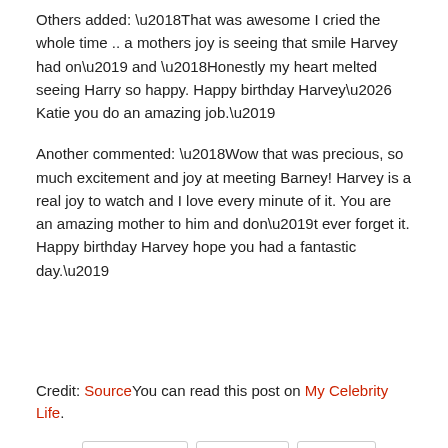Others added: ‘That was awesome I cried the whole time .. a mothers joy is seeing that smile Harvey had on’ and ‘Honestly my heart melted seeing Harry so happy. Happy birthday Harvey… Katie you do an amazing job.’
Another commented: ‘Wow that was precious, so much excitement and joy at meeting Barney! Harvey is a real joy to watch and I love every minute of it. You are an amazing mother to him and don’t ever forget it. Happy birthday Harvey hope you had a fantastic day.’
Credit: SourceYou can read this post on My Celebrity Life.
Tags: Harvey Price  Katie Price  Showbiz